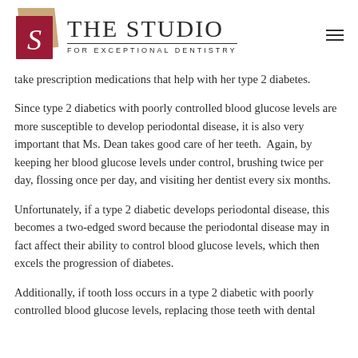THE STUDIO FOR EXCEPTIONAL DENTISTRY
take prescription medications that help with her type 2 diabetes.
Since type 2 diabetics with poorly controlled blood glucose levels are more susceptible to develop periodontal disease, it is also very important that Ms. Dean takes good care of her teeth. Again, by keeping her blood glucose levels under control, brushing twice per day, flossing once per day, and visiting her dentist every six months.
Unfortunately, if a type 2 diabetic develops periodontal disease, this becomes a two-edged sword because the periodontal disease may in fact affect their ability to control blood glucose levels, which then excels the progression of diabetes.
Additionally, if tooth loss occurs in a type 2 diabetic with poorly controlled blood glucose levels, replacing those teeth with dental